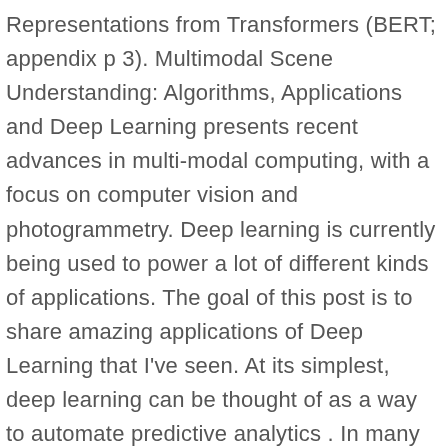Representations from Transformers (BERT; appendix p 3). Multimodal Scene Understanding: Algorithms, Applications and Deep Learning presents recent advances in multi-modal computing, with a focus on computer vision and photogrammetry. Deep learning is currently being used to power a lot of different kinds of applications. The goal of this post is to share amazing applications of Deep Learning that I've seen. At its simplest, deep learning can be thought of as a way to automate predictive analytics . In many cases Deep Learning outperformed previous work. There are many applications that are now of interest to deep learning researchers, and lots of sample code is becoming available, so I want to introduce two new demos I created in response to COVID-19 using MATLAB. Deep Learning-based Intelligent